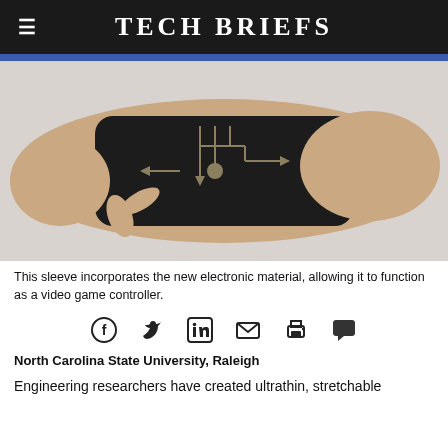Tech Briefs
[Figure (photo): A hand wearing a black wrist sleeve with electronic circuit patterns printed on it, and a finger pointing at the sleeve. The sleeve incorporates electronic material to function as a video game controller.]
This sleeve incorporates the new electronic material, allowing it to function as a video game controller.
[Figure (infographic): Social media sharing icons: Facebook, Twitter, LinkedIn, Email, Print, Comment]
North Carolina State University, Raleigh
Engineering researchers have created ultrathin, stretchable